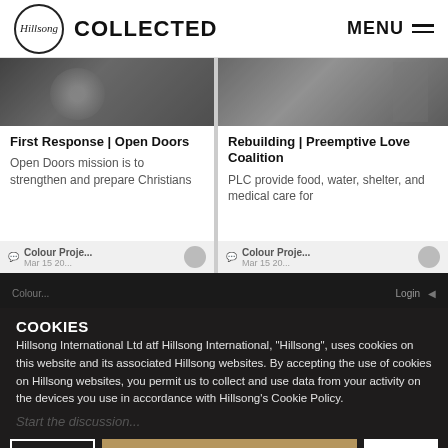Hillsong COLLECTED | MENU
[Figure (screenshot): Grayscale photo thumbnail for First Response | Open Doors card]
First Response | Open Doors
Open Doors mission is to strengthen and prepare Christians
Colour Proje... Mar 15 20...
[Figure (screenshot): Grayscale photo thumbnail for Rebuilding | Preemptive Love Coalition card]
Rebuilding | Preemptive Love Coalition
PLC provide food, water, shelter, and medical care for
Colour Proje... Mar 15 20...
COOKIES
Hillsong International Ltd atf Hillsong International, "Hillsong", uses cookies on this website and its associated Hillsong websites. By accepting the use of cookies on Hillsong websites, you permit us to collect and use data from your activity on the devices you use in accordance with Hillsong's Cookie Policy.
❯ Settings   ✓ Accept All Cookies   ✕ Opt Out